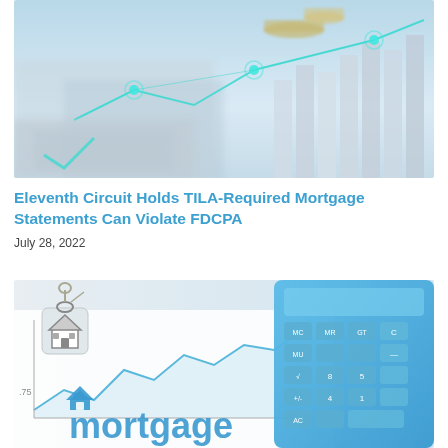[Figure (photo): Financial background image with bar charts, line graphs with glowing teal nodes, and blurred financial papers]
Eleventh Circuit Holds TILA-Required Mortgage Statements Can Violate FDCPA
July 28, 2022
[Figure (photo): Photo of a house-shaped keychain, a blue calculator, a stock market chart, and the word 'mortgage' in blue text on a document]